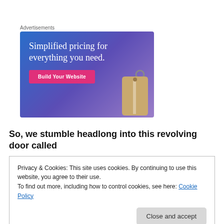Advertisements
[Figure (illustration): Advertisement banner with blue-purple gradient background showing a price tag graphic and text 'Simplified pricing for everything you need.' with a pink 'Build Your Website' button.]
So, we stumble headlong into this revolving door called
Privacy & Cookies: This site uses cookies. By continuing to use this website, you agree to their use.
To find out more, including how to control cookies, see here: Cookie Policy
Close and accept
headlong into this revolving door called